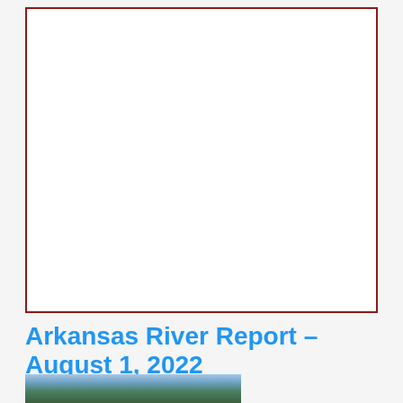[Figure (other): Large white box with dark red border, representing a placeholder image area]
Arkansas River Report – August 1, 2022
[Figure (photo): Partial landscape photo showing mountains and trees at the bottom of the page]